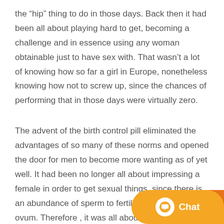the "hip" thing to do in those days. Back then it had been all about playing hard to get, becoming a challenge and in essence using any woman obtainable just to have sex with. That wasn't a lot of knowing how so far a girl in Europe, nonetheless knowing how not to screw up, since the chances of performing that in those days were virtually zero.
The advent of the birth control pill eliminated the advantages of so many of these norms and opened the door for men to become more wanting as of yet well. It had been no longer all about impressing a female in order to get sexual things, since there is an abundance of sperm to fertilize a female's ovum. Therefore , it was all about survival for the fittest and getting as many periods with several women as possible. The old strict overs... version was essentially discarded plus the focus... be less in terms of a mate choice than finding a potential